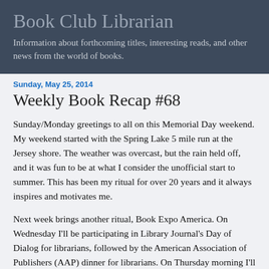Book Club Librarian
Information about forthcoming titles, interesting reads, and other news from the world of books.
Sunday, May 25, 2014
Weekly Book Recap #68
Sunday/Monday greetings to all on this Memorial Day weekend.  My weekend started with the Spring Lake 5 mile run at the Jersey shore.  The weather was overcast, but the rain held off, and it was fun to be at what I consider the unofficial start to summer.  This has been my ritual for over 20 years and it always inspires and motivates me.
Next week brings another ritual, Book Expo America.  On Wednesday I'll be participating in Library Journal's Day of Dialog for librarians, followed by the American Association of Publishers (AAP) dinner for librarians.  On Thursday morning I'll be attending